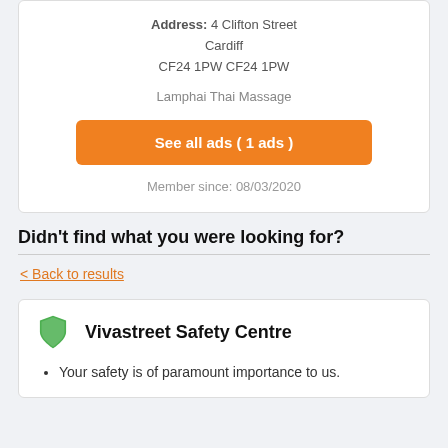Address: 4 Clifton Street Cardiff CF24 1PW CF24 1PW
Lamphai Thai Massage
See all ads ( 1 ads )
Member since: 08/03/2020
Didn't find what you were looking for?
< Back to results
Vivastreet Safety Centre
Your safety is of paramount importance to us.